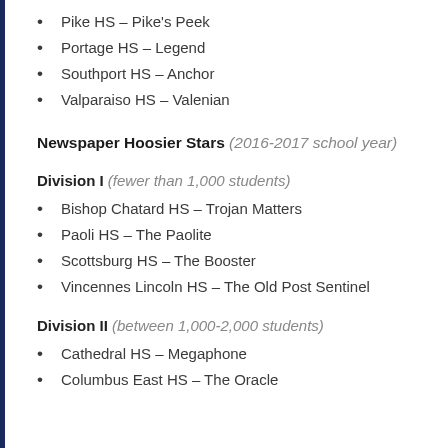Pike HS – Pike's Peek
Portage HS – Legend
Southport HS – Anchor
Valparaiso HS – Valenian
Newspaper Hoosier Stars (2016-2017 school year)
Division I (fewer than 1,000 students)
Bishop Chatard HS – Trojan Matters
Paoli HS – The Paolite
Scottsburg HS – The Booster
Vincennes Lincoln HS – The Old Post Sentinel
Division II (between 1,000-2,000 students)
Cathedral HS – Megaphone
Columbus East HS – The Oracle